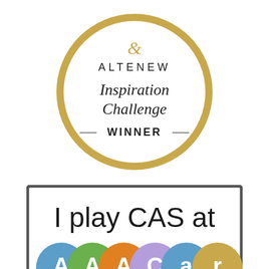[Figure (logo): Altenew Inspiration Challenge Winner circular badge with gold border, featuring an ampersand logo at top, 'ALTENEW' in spaced caps, 'Inspiration Challenge' in script font, and 'WINNER' in bold caps]
[Figure (logo): I play CAS at AAACraft badge — rectangular with dark border, 'I play CAS at' in large sans-serif text, and colorful overlapping circles spelling out AAACraft at bottom]